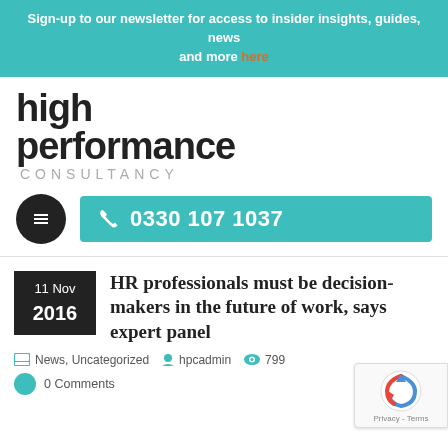Sign-up to our newsletter for access to insider insights, guides, news and more here
[Figure (logo): High Performance Consultancy logo with bold black text 'high performance' and grey 'CONSULTANCY' lettering]
[Figure (other): Dark circular hamburger menu button and teal phone button showing 0330 107 1037]
HR professionals must be decision-makers in the future of work, says expert panel
11 Nov 2016
News, Uncategorized  hpcadmin  799
0 Comments